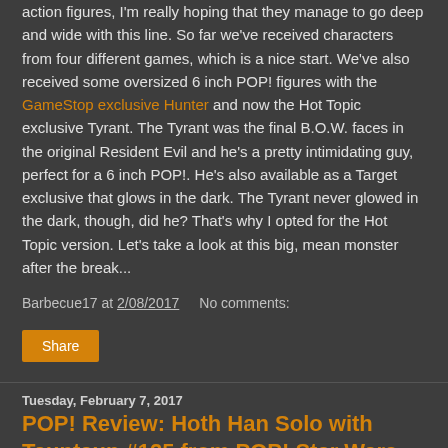action figures, I'm really hoping that they manage to go deep and wide with this line. So far we've received characters from four different games, which is a nice start. We've also received some oversized 6 inch POP! figures with the GameStop exclusive Hunter and now the Hot Topic exclusive Tyrant. The Tyrant was the final B.O.W. faces in the original Resident Evil and he's a pretty intimidating guy, perfect for a 6 inch POP!. He's also available as a Target exclusive that glows in the dark. The Tyrant never glowed in the dark, though, did he? That's why I opted for the Hot Topic version. Let's take a look at this big, mean monster after the break...
Barbecue17 at 2/08/2017   No comments:
Share
Tuesday, February 7, 2017
POP! Review: Hoth Han Solo with Tauntaun #125 from POP! Star Wars by Hasbro